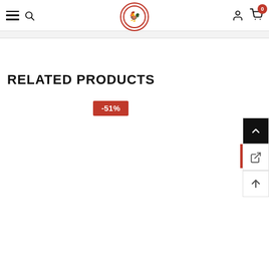[Figure (screenshot): E-commerce website header with hamburger menu, search icon, circular logo with bird design, user account icon, and shopping cart with badge showing 0]
RELATED PRODUCTS
-51%
[Figure (screenshot): Side panel with back-to-top arrow button (dark background), share/link icon button, and up arrow icon button]